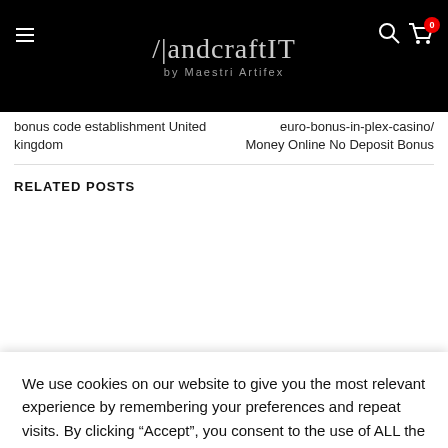[Figure (logo): HandcraftIT by Maestri Artifex logo on black background with hamburger menu, search icon, and cart with badge 0]
bonus code establishment United kingdom
euro-bonus-in-plex-casino/ Money Online No Deposit Bonus
RELATED POSTS
We use cookies on our website to give you the most relevant experience by remembering your preferences and repeat visits. By clicking “Accept”, you consent to the use of ALL the cookies. Do not sell my personal information.
Cookie Settings
ACCEPT